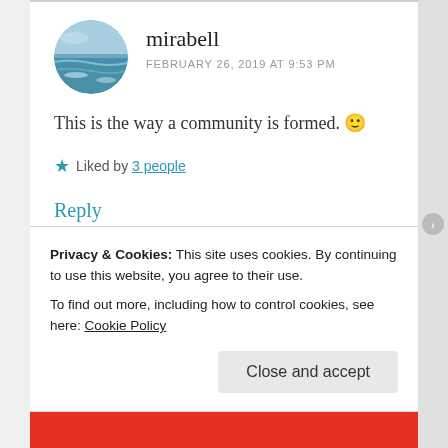mirabell
FEBRUARY 26, 2019 AT 9:53 PM
This is the way a community is formed. 🙂
Liked by 3 people
Reply
Privacy & Cookies: This site uses cookies. By continuing to use this website, you agree to their use.
To find out more, including how to control cookies, see here: Cookie Policy
Close and accept